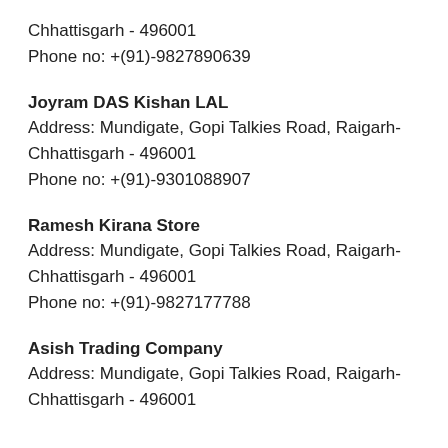Chhattisgarh - 496001
Phone no: +(91)-9827890639
Joyram DAS Kishan LAL
Address: Mundigate, Gopi Talkies Road, Raigarh- Chhattisgarh - 496001
Phone no: +(91)-9301088907
Ramesh Kirana Store
Address: Mundigate, Gopi Talkies Road, Raigarh- Chhattisgarh - 496001
Phone no: +(91)-9827177788
Asish Trading Company
Address: Mundigate, Gopi Talkies Road, Raigarh- Chhattisgarh - 496001